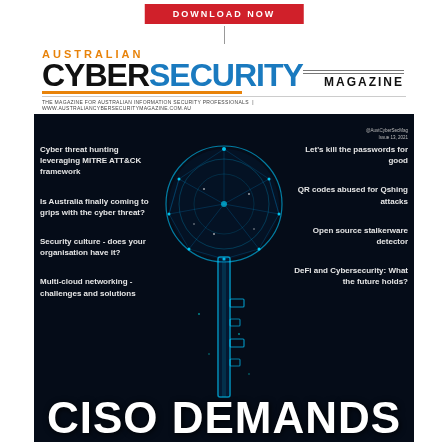DOWNLOAD NOW
[Figure (illustration): Australian Cyber Security Magazine cover featuring a glowing blue digital key on dark background]
AUSTRALIAN CYBERSECURITY MAGAZINE
THE MAGAZINE FOR AUSTRALIAN INFORMATION SECURITY PROFESSIONALS | www.australiancybersecuritymagazine.com.au
@AustCyberSecMag Issue 13, 2021
Cyber threat hunting leveraging MITRE ATT&CK framework
Let's kill the passwords for good
Is Australia finally coming to grips with the cyber threat?
QR codes abused for Qshing attacks
Security culture - does your organisation have it?
Open source stalkerware detector
Multi-cloud networking - challenges and solutions
DeFi and Cybersecurity: What the future holds?
CISO DEMANDS